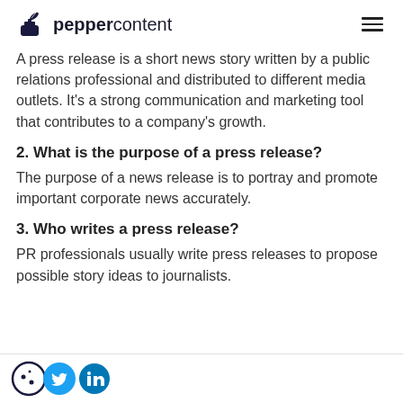peppercontent
A press release is a short news story written by a public relations professional and distributed to different media outlets. It’s a strong communication and marketing tool that contributes to a company’s growth.
2. What is the purpose of a press release?
The purpose of a news release is to portray and promote important corporate news accurately.
3. Who writes a press release?
PR professionals usually write press releases to propose possible story ideas to journalists.